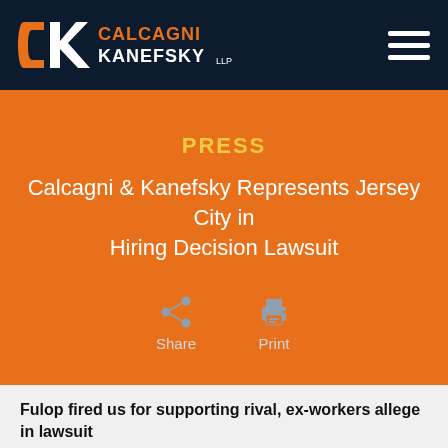[Figure (logo): Calcagni Kanefsky LLP law firm logo with CK monogram in orange and white on dark navy background]
PRESS
Calcagni & Kanefsky Represents Jersey City in Hiring Decision Lawsuit
[Figure (infographic): Share and Print action icons with labels]
Fulop fired us for supporting rival, ex-workers allege in lawsuit
NJ.com, April 8, 2016